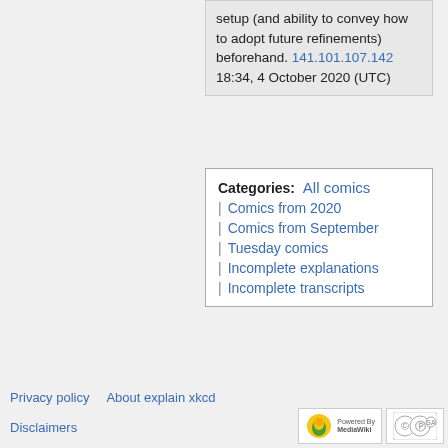setup (and ability to convey how to adopt future refinements) beforehand. 141.101.107.142 18:34, 4 October 2020 (UTC)
Categories: All comics | Comics from 2020 | Comics from September | Tuesday comics | Incomplete explanations | Incomplete transcripts
Privacy policy   About explain xkcd
Disclaimers